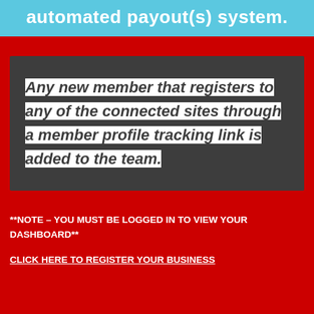automated payout(s) system.
Any new member that registers to any of the connected sites through a member profile tracking link is added to the team.
**NOTE – YOU MUST BE LOGGED IN TO VIEW YOUR DASHBOARD**
CLICK HERE TO REGISTER YOUR BUSINESS